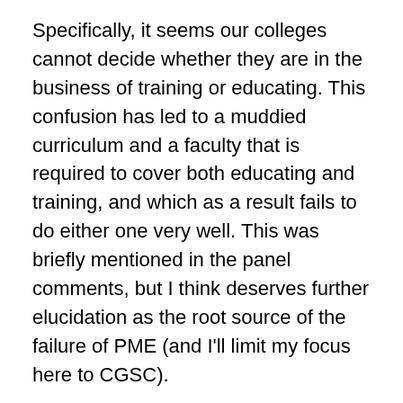Specifically, it seems our colleges cannot decide whether they are in the business of training or educating. This confusion has led to a muddied curriculum and a faculty that is required to cover both educating and training, and which as a result fails to do either one very well. This was briefly mentioned in the panel comments, but I think deserves further elucidation as the root source of the failure of PME (and I'll limit my focus here to CGSC).
For starters, let's look at the faculty. These are typically officers on the verge of retirement who have been out of the operational force for several years and are interested in academia, but have not yet completed advanced degrees or had any classroom experience outside of the military system. This places them on the fringes of both the operational force and academia. Yet we ask them to